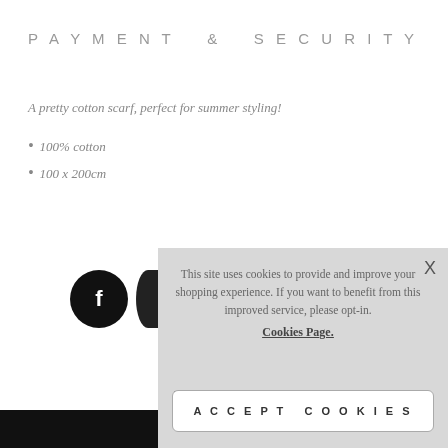PAYMENT & SECURITY
A pretty cotton scarf, perfect for summer styling!
100% cotton
100 x 200cm
[Figure (screenshot): Cookie consent overlay popup with close button, message about cookies, Cookies Page link, opt-in text, and ACCEPT COOKIES button]
This site uses cookies to provide and improve your shopping experience. If you want to benefit from this improved service, please opt-in. Cookies Page.
I opt-in to a better browsing experience
ACCEPT COOKIES